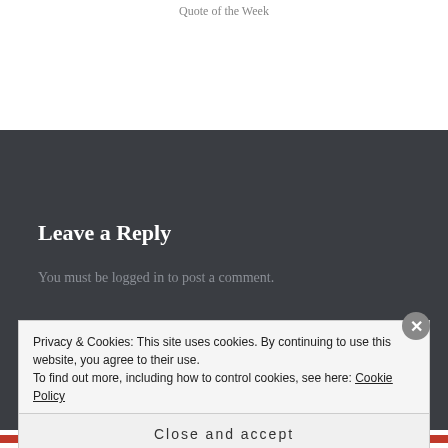Quote of the Week
Leave a Reply
You must be logged in to post a comment.
Privacy & Cookies: This site uses cookies. By continuing to use this website, you agree to their use.
To find out more, including how to control cookies, see here: Cookie Policy
Close and accept